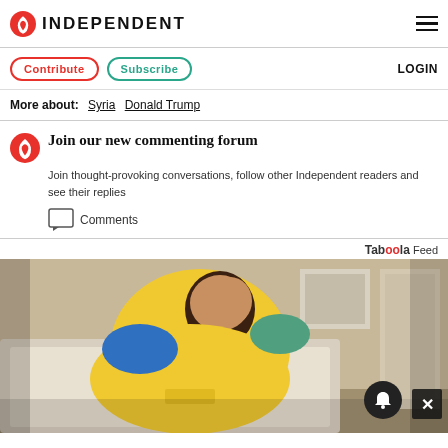INDEPENDENT
Contribute  Subscribe  LOGIN
More about: Syria  Donald Trump
Join our new commenting forum
Join thought-provoking conversations, follow other Independent readers and see their replies
Comments
Taboola Feed
[Figure (photo): A woman in a yellow polo shirt cleaning a bathtub, with cleaning supplies visible.]